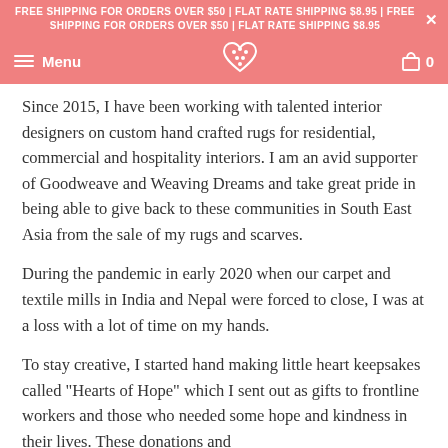FREE SHIPPING FOR ORDERS OVER $50 | FLAT RATE SHIPPING $8.95 | FREE SHIPPING FOR ORDERS OVER $50 | FLAT RATE SHIPPING $8.95
Menu [logo] 0
Since 2015, I have been working with talented interior designers on custom hand crafted rugs for residential, commercial and hospitality interiors. I am an avid supporter of Goodweave and Weaving Dreams and take great pride in being able to give back to these communities in South East Asia from the sale of my rugs and scarves.
During the pandemic in early 2020 when our carpet and textile mills in India and Nepal were forced to close, I was at a loss with a lot of time on my hands.
To stay creative, I started hand making little heart keepsakes called "Hearts of Hope" which I sent out as gifts to frontline workers and those who needed some hope and kindness in their lives. These donations and